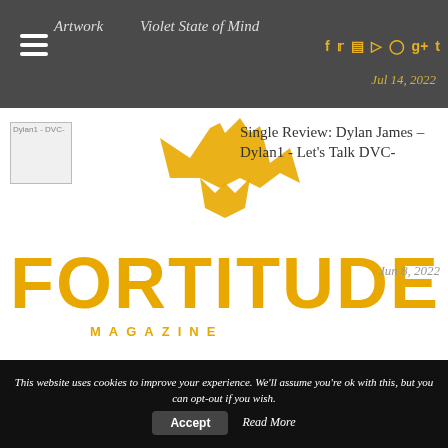Artwork   Violet State of Mind   Jul 14, 2022
[Figure (logo): Fortitude Magazine logo in orange/gold with stylized bull and large FORTITUDE text and MAGAZINE subtitle]
Single Review: Dylan James – Dylan1 - Let's Talk DVC-   Jun 8, 2022
[Figure (photo): Thumbnail image placeholder PastedGr 1]
Album review: Mica Millar – Heaven Knows   Jun 30, 2022
[Figure (photo): Thumbnail image placeholder awlfield 2]
EP Review: As We Leave – Stop Making Plans   Jun 24, 2022
This website uses cookies to improve your experience. We'll assume you're ok with this, but you can opt-out if you wish.   Accept   Read More